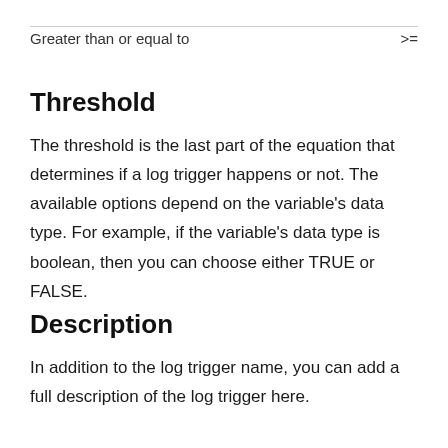| Greater than or equal to | >= |
Threshold
The threshold is the last part of the equation that determines if a log trigger happens or not. The available options depend on the variable's data type. For example, if the variable's data type is boolean, then you can choose either TRUE or FALSE.
Description
In addition to the log trigger name, you can add a full description of the log trigger here.